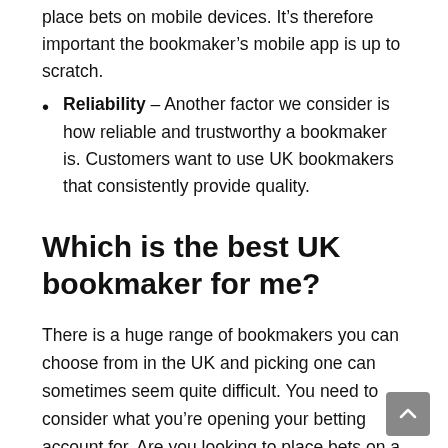place bets on mobile devices. It's therefore important the bookmaker's mobile app is up to scratch.
Reliability – Another factor we consider is how reliable and trustworthy a bookmaker is. Customers want to use UK bookmakers that consistently provide quality.
Which is the best UK bookmaker for me?
There is a huge range of bookmakers you can choose from in the UK and picking one can sometimes seem quite difficult. You need to consider what you're opening your betting account for. Are you looking to place bets on a specific sport or event? Are you looking for the best odds across